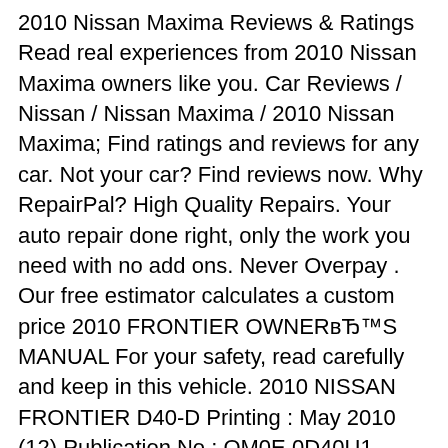2010 Nissan Maxima Reviews & Ratings Read real experiences from 2010 Nissan Maxima owners like you. Car Reviews / Nissan / Nissan Maxima / 2010 Nissan Maxima; Find ratings and reviews for any car. Not your car? Find reviews now. Why RepairPal? High Quality Repairs. Your auto repair done right, only the work you need with no add ons. Never Overpay . Our free estimator calculates a custom price 2010 FRONTIER OWNERвЂ™S MANUAL For your safety, read carefully and keep in this vehicle. 2010 NISSAN FRONTIER D40-D Printing : May 2010 (12) Publication No.: OM0E 0D40U1 Printed in U.S.A. D40-D. Welcome to the growing family of new...